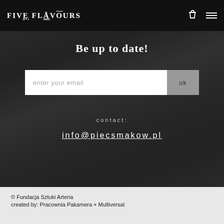FIVE FLAVOURS
[Figure (photo): Dark greyscale background photo of people lying down, used as hero section background]
Be up to date!
enter your email  ok
contact:
info@piecsmakow.pl
© Fundacja Sztuki Arteria
created by: Pracownia Pakamera + Multiversal